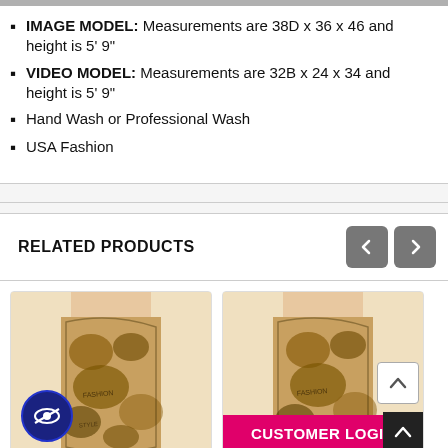IMAGE MODEL: Measurements are 38D x 36 x 46 and height is 5' 9"
VIDEO MODEL: Measurements are 32B x 24 x 34 and height is 5' 9"
Hand Wash or Professional Wash
USA Fashion
RELATED PRODUCTS
[Figure (photo): Product photo of tattoo/snake-print leggings worn by model, left card]
[Figure (photo): Product photo of tattoo/snake-print leggings worn by model, right card, with Customer Login bar overlay]